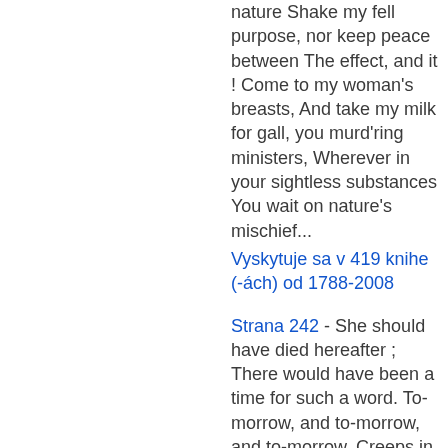nature Shake my fell purpose, nor keep peace between The effect, and it ! Come to my woman's breasts, And take my milk for gall, you murd'ring ministers, Wherever in your sightless substances You wait on nature's mischief...
Vyskytuje sa v 419 knihe (-ách) od 1788-2008
Strana 242 - She should have died hereafter ; There would have been a time for such a word. To-morrow, and to-morrow, and to-morrow, Creeps in this petty pace from day to day To the last syllable of recorded time. And all our